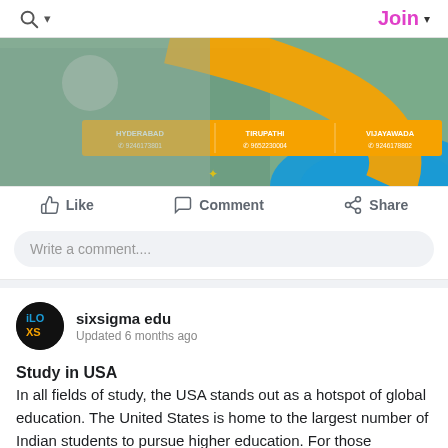Search  Join
[Figure (photo): Banner image with a student sitting outdoors with a laptop, overlaid with orange and blue graphic shapes, showing contact info for Hyderabad (9246173801), Tirupathi (9652230004), Vijayawada (9246178802)]
Like   Comment   Share
Write a comment....
sixsigma edu
Updated 6 months ago
Study in USA
In all fields of study, the USA stands out as a hotspot of global education. The United States is home to the largest number of Indian students to pursue higher education. For those planning their study in USA, there is a chance to work directly